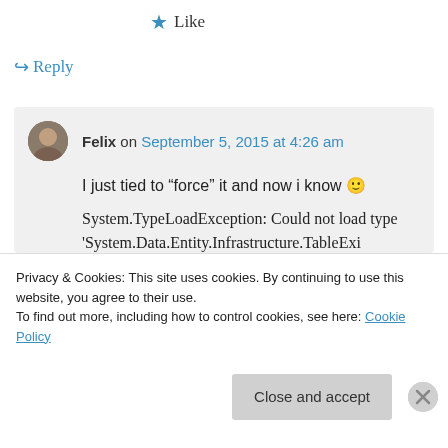★ Like
↪ Reply
Felix on September 5, 2015 at 4:26 am
I just tied to “force” it and now i know 🙂
System.TypeLoadException: Could not load type
'System.Data.Entity.Infrastructure.TableExi
Privacy & Cookies: This site uses cookies. By continuing to use this website, you agree to their use.
To find out more, including how to control cookies, see here: Cookie Policy
Close and accept